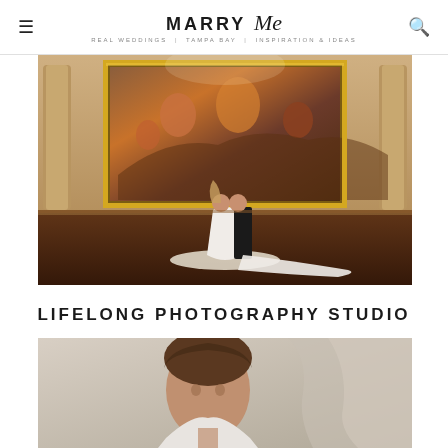MARRY Me | TAMPA BAY | (tagline)
[Figure (photo): Wedding couple kissing in front of a large ornate classical painting in a museum hall. Bride in white gown with long train, groom in black suit. Marble columns and warm gallery lighting.]
LIFELONG PHOTOGRAPHY STUDIO
[Figure (photo): Portrait of a man (photographer), cropped at top of frame showing face and upper body, light background with soft drapery.]